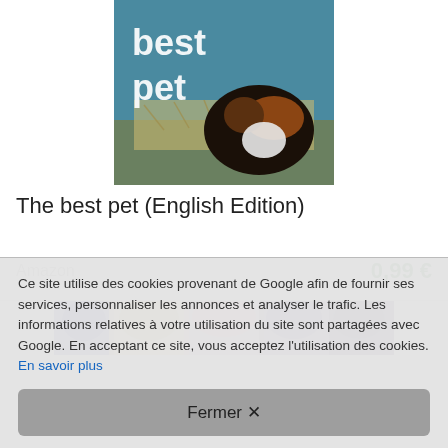[Figure (photo): Book cover for 'The best pet (English Edition)' showing a dog/pet photo with 'best pet' text overlay on a blue and naturalistic background]
The best pet (English Edition)
Amazon    0,99 €
[Figure (photo): Partial image of anime-style characters with colorful hair (blonde, pink, purple) visible at the bottom of the product listing area]
Ce site utilise des cookies provenant de Google afin de fournir ses services, personnaliser les annonces et analyser le trafic. Les informations relatives à votre utilisation du site sont partagées avec Google. En acceptant ce site, vous acceptez l'utilisation des cookies. En savoir plus
Fermer ✕